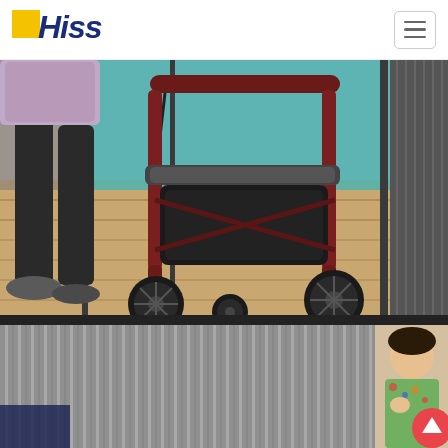[Figure (logo): HISS brand logo with yellow square and blue bold text]
[Figure (photo): Person in black pants and casual shoes standing next to a dark red/maroon rollator walker with four wheels, black storage bag, and seat, on a wood floor near glass doors]
[Figure (photo): Bottom section showing corrugated metal panels on left and a smiling woman in floral dress on right, with red scroll-to-top button]